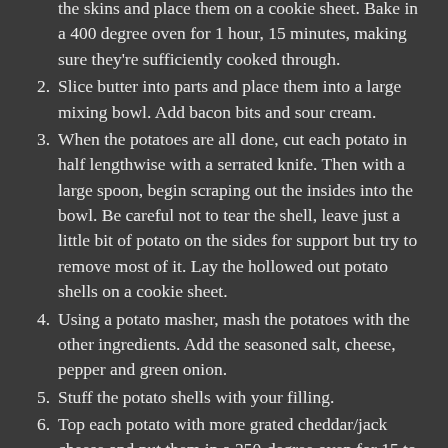(continuation) the skins and place them on a cookie sheet. Bake in a 400 degree oven for 1 hour, 15 minutes, making sure they're sufficiently cooked through.
2. Slice butter into parts and place them into a large mixing bowl. Add bacon bits and sour cream.
3. When the potatoes are all done, cut each potato in half lengthwise with a serrated knife. Then with a large spoon, begin scraping out the insides into the bowl. Be careful not to tear the shell, leave just a little bit of potato on the sides for support but try to remove most of it. Lay the hollowed out potato shells on a cookie sheet.
4. Using a potato masher, mash the potatoes with the other ingredients. Add the seasoned salt, cheese, pepper and green onion.
5. Stuff the potato shells with your filling.
6. Top each potato with more grated cheddar/jack cheese and put them in a 350-degree oven for 15 to 20 minutes, or until the potato is warmed